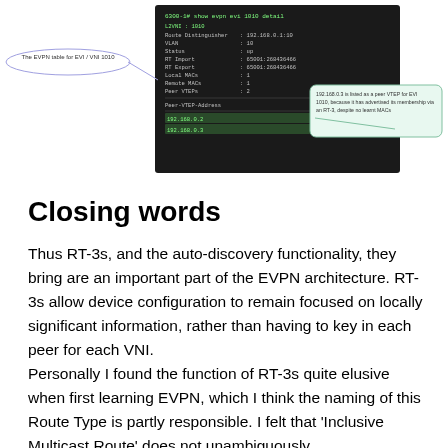[Figure (screenshot): A terminal/CLI screenshot showing 'show evpn evi 1010 detail' output with route distinguisher, VLAN, status, RT import/export, local MACs, remote MACs, peer VTEPs (192.168.0.2 and 192.168.0.3). Two annotation callout bubbles: left bubble says 'The EVPN table for EVI / VNI 1010'; right bubble says '192.168.0.3 is listed as a peer VTEP for EVI 1010, because it has advertised its membership via an RT-3, despite no learnt MACs'.]
Closing words
Thus RT-3s, and the auto-discovery functionality, they bring are an important part of the EVPN architecture. RT-3s allow device configuration to remain focused on locally significant information, rather than having to key in each peer for each VNI.
Personally I found the function of RT-3s quite elusive when first learning EVPN, which I think the naming of this Route Type is partly responsible. I felt that 'Inclusive Multicast Route' does not unambiguously